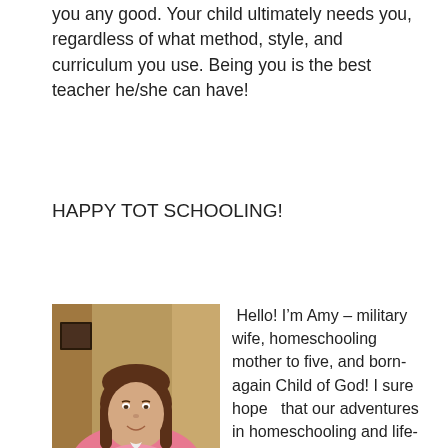you any good. Your child ultimately needs you, regardless of what method, style, and curriculum you use. Being you is the best teacher he/she can have!
HAPPY TOT SCHOOLING!
[Figure (photo): Portrait photo of Amy, a woman with shoulder-length brown hair wearing a pink top, seated indoors.]
Hello! I’m Amy – military wife, homeschooling mother to five, and born-again Child of God! I sure hope  that our adventures in homeschooling and life-living will be a blessing to you and an encouragement! For more, come visit us at www.nogreaterhonors.blogspot.com to see what is